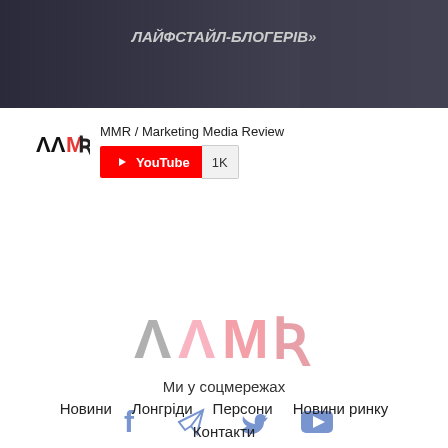[Figure (photo): Hero banner image with dark background showing text in Ukrainian Cyrillic script 'ЛАЙФСТАЙЛ-БЛОГЕРІВ»' in large italic white letters, partially visible, with a person in background]
MMR / Marketing Media Review
[Figure (logo): MMR logo — stylized letters ΛΛR in black, magenta, yellow, and blue]
[Figure (other): YouTube subscribe button showing red YouTube logo and play button with '1K' subscriber count]
[Figure (logo): Large MMR logo centered — stylized letters in gray, pink, and coral colors]
Ми у соцмережах
[Figure (infographic): Row of four social media icons: Facebook (f), Telegram (paper plane), Twitter (bird), YouTube (play button) — all in blue-gray color]
Новини
Лонгріди
Персони
Новини ринку
Контакти